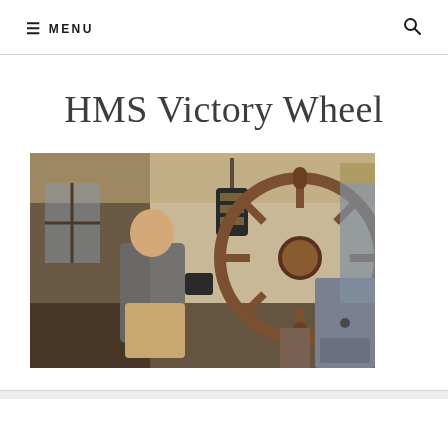MENU
HMS Victory Wheel
[Figure (photo): A man with a camera and camera strap standing at the helm/ship's wheel of HMS Victory. The large wooden ship's wheel is prominently visible on the right side. A hanging lantern is visible above. The interior of the historic ship is shown with wooden floors and dim lighting.]